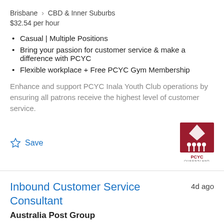Brisbane > CBD & Inner Suburbs
$32.54 per hour
Casual | Multiple Positions
Bring your passion for customer service & make a difference with PCYC
Flexible workplace + Free PCYC Gym Membership
Enhance and support PCYC Inala Youth Club operations by ensuring all patrons receive the highest level of customer service.
Save
[Figure (logo): PCYC Queensland logo — red background with white figures and flame shape, text PCYC QUEENSLAND below]
Inbound Customer Service Consultant
4d ago
Australia Post Group
Brisbane > CBD & Inner Suburbs
$52,180 plus 12%super increases after probation
Multiple positions...